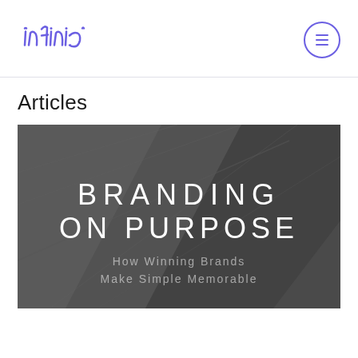[Figure (logo): Infinia logo in purple handwritten/script style text]
[Figure (other): Circular menu/hamburger button with three horizontal lines, purple outline]
Articles
[Figure (photo): Dark gray architectural/geometric background image with diagonal panels. Text overlay reads 'BRANDING ON PURPOSE' in large white thin font, and below 'How Winning Brands Make Simple Memorable' in smaller lighter text.]